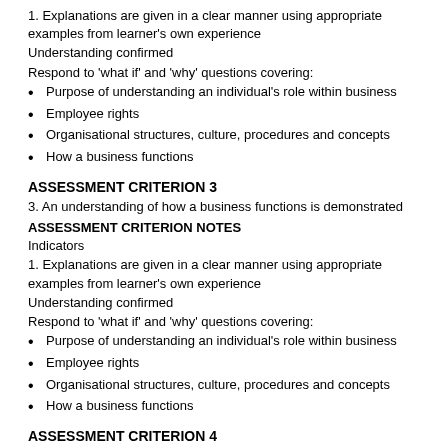1. Explanations are given in a clear manner using appropriate examples from learner's own experience
Understanding confirmed
Respond to 'what if' and 'why' questions covering:
Purpose of understanding an individual's role within business
Employee rights
Organisational structures, culture, procedures and concepts
How a business functions
ASSESSMENT CRITERION 3
3. An understanding of how a business functions is demonstrated
ASSESSMENT CRITERION NOTES
Indicators
1. Explanations are given in a clear manner using appropriate examples from learner's own experience
Understanding confirmed
Respond to 'what if' and 'why' questions covering:
Purpose of understanding an individual's role within business
Employee rights
Organisational structures, culture, procedures and concepts
How a business functions
ASSESSMENT CRITERION 4
4. The individual's role within the organisation is discussed and reflected upon
ASSESSMENT CRITERION NOTES
Indicators
1. Explanations are given in a clear manner using appropriate examples from learner's own experience